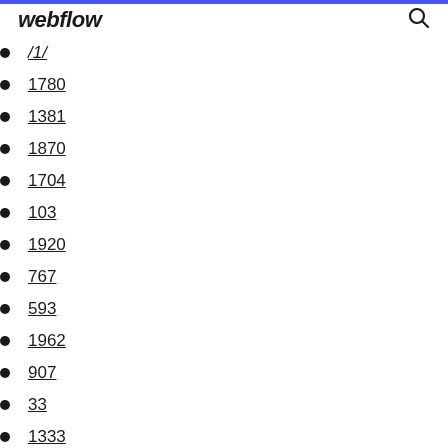webflow
/1/
1780
1381
1870
1704
103
1920
767
593
1962
907
33
1333